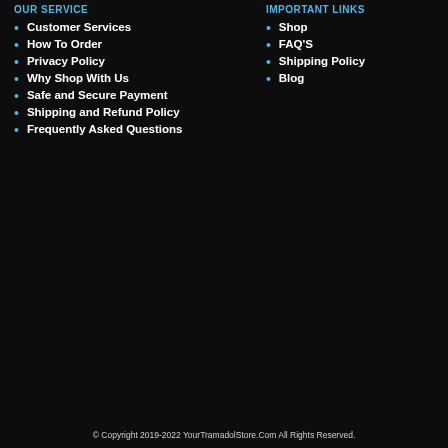OUR SERVICE
Customer Services
How To Order
Privacy Policy
Why Shop With Us
Safe and Secure Payment
Shipping and Refund Policy
Frequently Asked Questions
Important Links
Shop
FAQ'S
Shipping Policy
Blog
© Copyright 2019-2022 YourTramadolStore.Com All Rights Reserved.